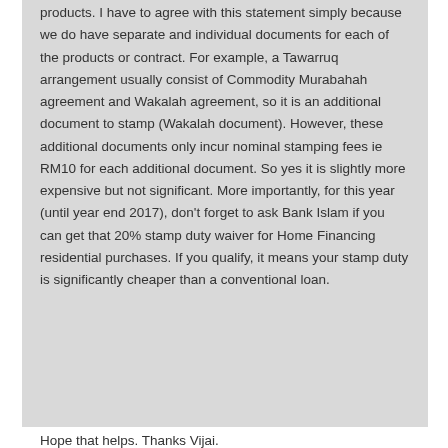products. I have to agree with this statement simply because we do have separate and individual documents for each of the products or contract. For example, a Tawarruq arrangement usually consist of Commodity Murabahah agreement and Wakalah agreement, so it is an additional document to stamp (Wakalah document). However, these additional documents only incur nominal stamping fees ie RM10 for each additional document. So yes it is slightly more expensive but not significant. More importantly, for this year (until year end 2017), don't forget to ask Bank Islam if you can get that 20% stamp duty waiver for Home Financing residential purchases. If you qualify, it means your stamp duty is significantly cheaper than a conventional loan.
Hope that helps. Thanks Vijai.